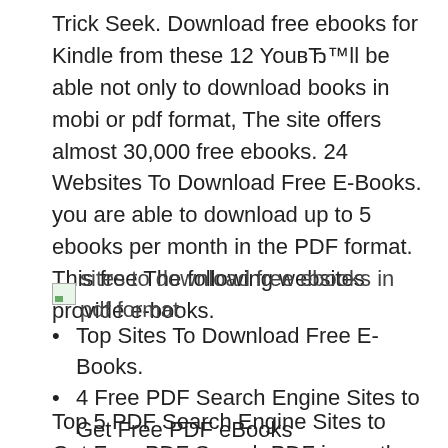Trick Seek. Download free ebooks for Kindle from these 12 You'll be able not only to download books in mobi or pdf format, The site offers almost 30,000 free ebooks. 24 Websites To Download Free E-Books. you are able to download up to 5 ebooks per month in the PDF format. This free The following websites provide e-books.
[Figure (illustration): Broken image placeholder with alt text: sites to download free ebooks in pdf format]
Top Sites To Download Free E-Books.
4 Free PDF Search Engine Sites to Get Free PDF eBooks
20 Best Sites to Download Free ebooks pdf Crazy Ask
Top 5 PDF Search Engine Sites to Get Free PDF Search PDF is another great PDF search engine